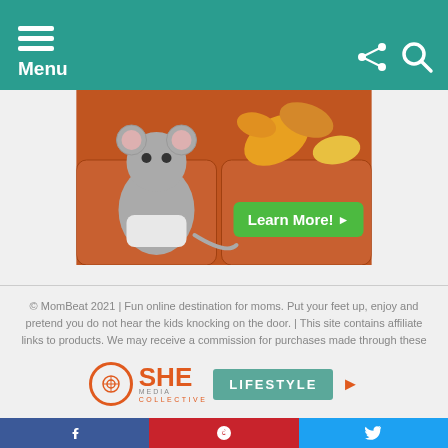Menu
[Figure (illustration): Cartoon mouse/rat sitting on orange couch with autumn leaves, with a green 'Learn More!' button]
© MomBeat 2021 | Fun online destination for moms. Put your feet up, enjoy and pretend you do not hear the kids knocking on the door. | This site contains affiliate links to products. We may receive a commission for purchases made through these links. However, this does not impact our reviews and comparisons.
Home
About The Mom Beat
Contact
Pregnancy Due Date Calculator
[Figure (logo): SHE Media Collective Lifestyle logo with play button icon]